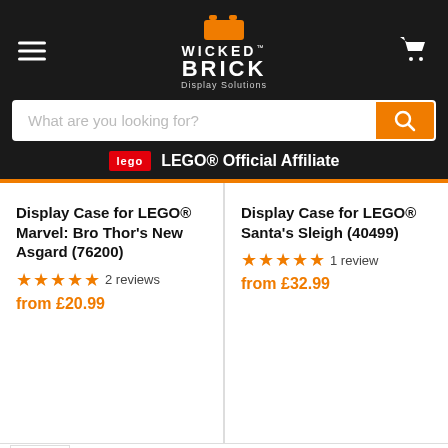[Figure (logo): Wicked Brick Display Solutions logo with orange LEGO brick icon, white bold text WICKED BRICK and Display Solutions tagline on dark background]
What are you looking for?
LEGO® Official Affiliate
Display Case for LEGO® Marvel: Bro Thor's New Asgard (76200)
★★★★★ 2 reviews
from £20.99
Display Case for LEGO® Santa's Sleigh (40499)
★★★★★ 1 review
from £32.99